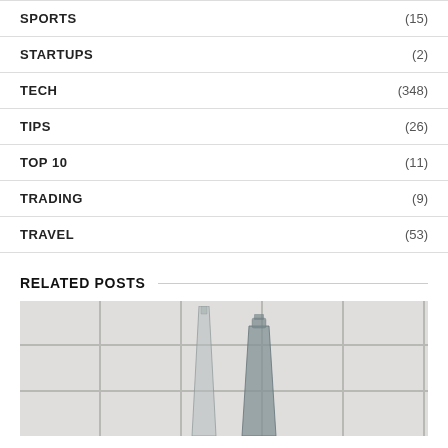SPORTS (15)
STARTUPS (2)
TECH (348)
TIPS (26)
TOP 10 (11)
TRADING (9)
TRAVEL (53)
RELATED POSTS
[Figure (photo): Photo of glass bottles against white subway tile wall background, in grayscale/muted tones]